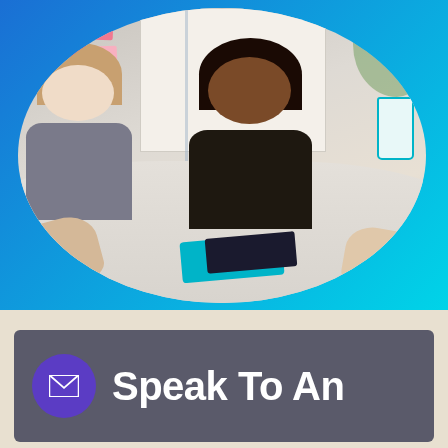[Figure (photo): A circular-cropped photo of a workplace meeting scene on a blue/teal gradient background. Two women sit at a white conference table facing the camera — one with long straight hair in a grey blazer on the left, one with braids and a dark top smiling in the center. Sticky notes and a whiteboard are visible behind them. In the foreground are hands, a teal tablet cover, and a dark notebook on the table.]
Speak To An